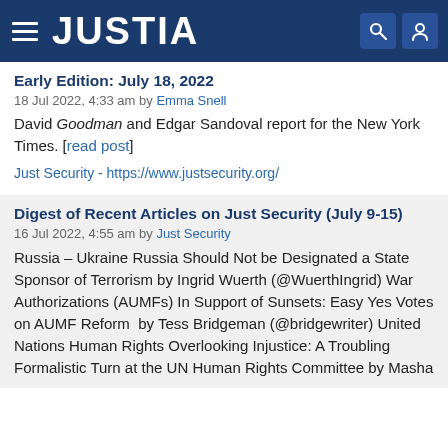JUSTIA
Early Edition: July 18, 2022
18 Jul 2022, 4:33 am by Emma Snell
David Goodman and Edgar Sandoval report for the New York Times. [read post]
Just Security - https://www.justsecurity.org/
Digest of Recent Articles on Just Security (July 9-15)
16 Jul 2022, 4:55 am by Just Security
Russia – Ukraine Russia Should Not be Designated a State Sponsor of Terrorism by Ingrid Wuerth (@WuerthIngrid) War Authorizations (AUMFs) In Support of Sunsets: Easy Yes Votes on AUMF Reform  by Tess Bridgeman (@bridgewriter) United Nations Human Rights Overlooking Injustice: A Troubling Formalistic Turn at the UN Human Rights Committee by Masha